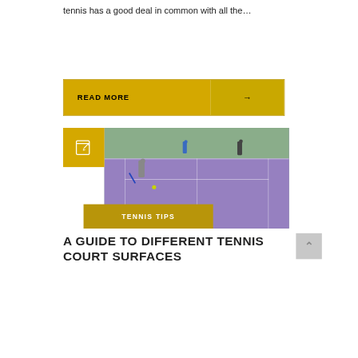tennis has a good deal in common with all the…
READ MORE →
[Figure (photo): A girl playing tennis on an indoor purple and green tennis court, with other players visible in the background.]
TENNIS TIPS
A GUIDE TO DIFFERENT TENNIS COURT SURFACES